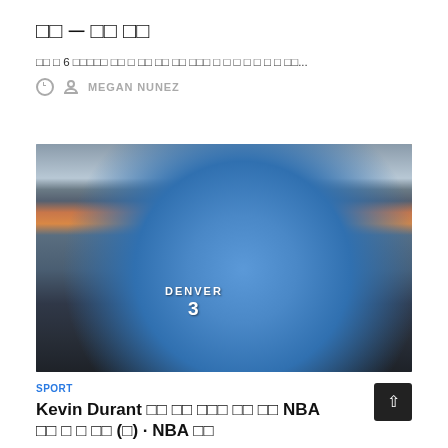□□ — □□ □□
□□ □ 6 □□□□□ □□ □ □□ □□ □□ □□□ □ □ □ □ □ □ □ □□...
MEGAN NUNEZ
[Figure (photo): Basketball player wearing a blue Denver Nuggets jersey with number 3, smiling, with a basketball hoop visible in the background and a crowd in the stands]
SPORT
Kevin Durant □□ □□ □□□ □□ □□ NBA □□ □ □ □□ (□) · NBA □□